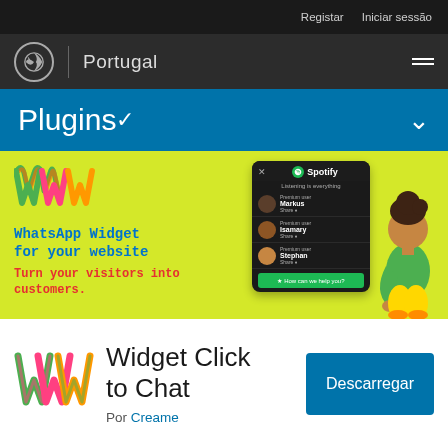Registar  Iniciar sessão
[Figure (screenshot): WordPress Portugal navigation bar with WordPress logo, vertical divider, Portugal text, and hamburger menu icon]
Plugins
[Figure (illustration): WhatsApp Widget for your website promotional banner on yellow background. Features colorful WCW logo, tagline 'WhatsApp Widget for your website', subtitle 'Turn your visitors into customers.', Spotify widget mockup, and 3D animated female character.]
[Figure (logo): Widget Click to Chat plugin icon - colorful WCW letters logo]
Widget Click to Chat
Por Creame